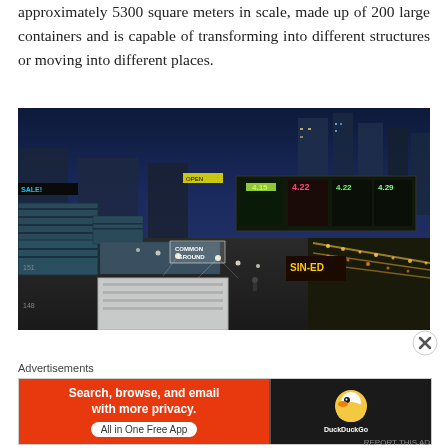approximately 5300 square meters in scale, made up of 200 large containers and is capable of transforming into different structures or moving into different places.
[Figure (photo): Nighttime aerial/elevated view of a large container complex (Common Ground) in an urban area, with city lights, traffic, and skyscrapers in the background. Shipping containers arranged in rows with lit pathways between them.]
Advertisements
[Figure (other): DuckDuckGo advertisement banner with orange background on left side reading 'Search, browse, and email with more privacy. All in One Free App' and DuckDuckGo duck logo on dark right side.]